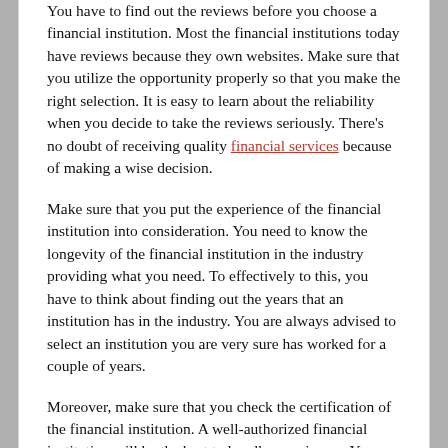You have to find out the reviews before you choose a financial institution. Most the financial institutions today have reviews because they own websites. Make sure that you utilize the opportunity properly so that you make the right selection. It is easy to learn about the reliability when you decide to take the reviews seriously. There's no doubt of receiving quality financial services because of making a wise decision.
Make sure that you put the experience of the financial institution into consideration. You need to know the longevity of the financial institution in the industry providing what you need. To effectively to this, you have to think about finding out the years that an institution has in the industry. You are always advised to select an institution you are very sure has worked for a couple of years.
Moreover, make sure that you check the certification of the financial institution. A well-authorized financial institution will be the best to handle your issues. You have to see and verify that the license is genuine.
Filed Under: Legal
HOW I ACHIEVED MAXIMUM